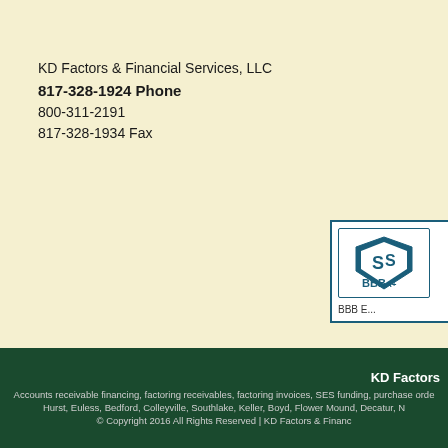KD Factors & Financial Services, LLC
817-328-1924 Phone
800-311-2191
817-328-1934 Fax
[Figure (logo): BBB Accredited Business logo with BBB shield emblem and text 'BBB E...' beneath]
KD Factors
Accounts receivable financing, factoring receivables, factoring invoices, SES funding, purchase orde...
Hurst, Euless, Bedford, Colleyville, Southlake, Keller, Boyd, Flower Mound, Decatur, N...
© Copyright 2016 All Rights Reserved | KD Factors & Financ...